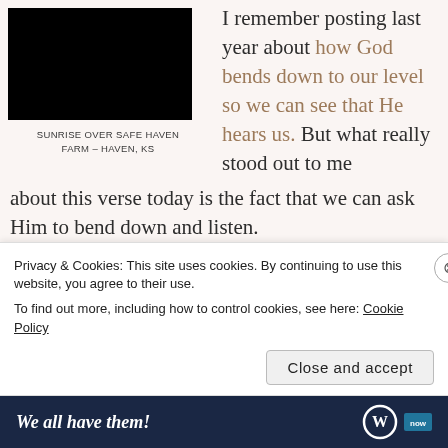[Figure (photo): Black rectangle placeholder image representing sunrise over Safe Haven Farm]
SUNRISE OVER SAFE HAVEN FARM – HAVEN, KS
I remember posting last year about how God bends down to our level so we can see that He hears us. But what really stood out to me about this verse today is the fact that we can ask Him to bend down and listen.
I have some really great friends. And we can talk about anything. But if I really need to tell them something, I just have to ask them to listen. Some of
Privacy & Cookies: This site uses cookies. By continuing to use this website, you agree to their use.
To find out more, including how to control cookies, see here: Cookie Policy
Close and accept
We all have them!